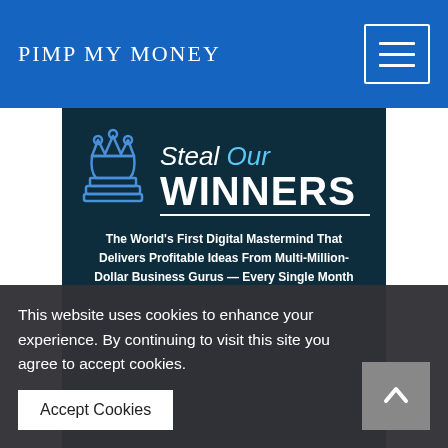PIMP MY MONEY
[Figure (screenshot): Steal Our Winners banner: dark teal background with chess queen piece icon, title 'Steal Our WINNERS' and subtitle 'The World's First Digital Mastermind That Delivers Profitable Ideas From Multi-Million-Dollar Business Gurus — Every Single Month']
Rich Schefren - Steal Our
This website uses cookies to enhance your experience. By continuing to visit this site you agree to accept cookies.
Accept Cookies